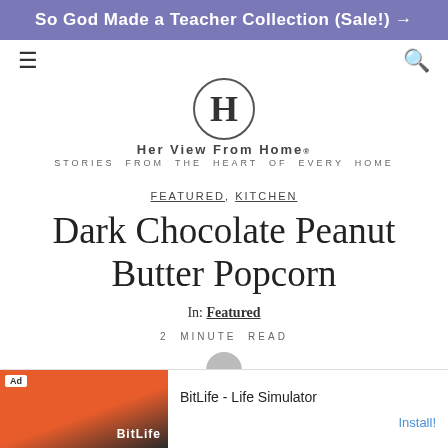So God Made a Teacher Collection (Sale!) →
[Figure (logo): Her View From Home logo with H in circle, site name and tagline 'Stories from the Heart of Every Home']
FEATURED, KITCHEN
Dark Chocolate Peanut Butter Popcorn
In: Featured
2 MINUTE READ
[Figure (photo): Ad banner for BitLife - Life Simulator with orange background]